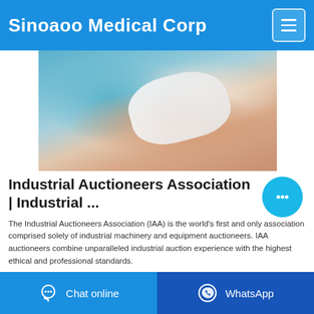Sinoaoo Medical Corp
[Figure (photo): Close-up photo of hands applying or holding a white bandage/medical dressing, with teal/blue medical clothing in the background.]
Industrial Auctioneers Association | Industrial ...
The Industrial Auctioneers Association (IAA) is the world's first and only association comprised solely of industrial machinery and equipment auctioneers. IAA auctioneers combine unparalleled industrial auction experience with the highest ethical and professional standards.
Chat online   WhatsApp